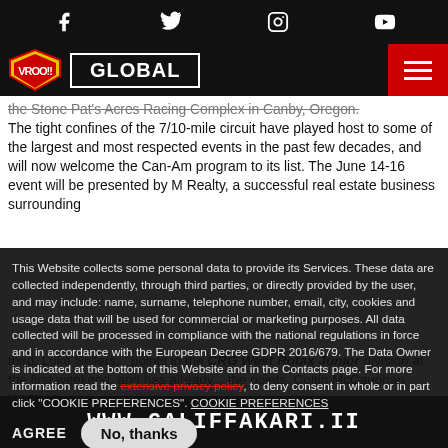Social media icons: Facebook, Twitter, Instagram, YouTube
VROO!! GLOBAL [hamburger menu]
the Stone Pat's Acres Racing Complex in Canby, Oregon. The tight confines of the 7/10-mile circuit have played host to some of the largest and most respected events in the past few decades, and will now welcome the Can-Am program to its list. The June 14-16 event will be presented by M Realty, a successful real estate business surrounding...
This Website collects some personal data to provide its Services. These data are collected independently, through third parties, or directly provided by the user, and may include: name, surname, telephone number, email, city, cookies and usage data that will be used for commercial or marketing purposes. All data collected will be processed in compliance with the national regulations in force and in accordance with the European Decree GDPR 2016/679. The Data Owner is indicated at the bottom of this Website and in the Contacts page. For more information read the extensive privacy policy, to deny consent in whole or in part click "COOKIE PREFERENCES". COOKIE PREFERENCES
...third. Luke Sellers... points in the CRG West Rotax Junior division at the first weekend, and has already... the points. Coltin McCaughan leads as...
WWW.GALIFFAKARI.II